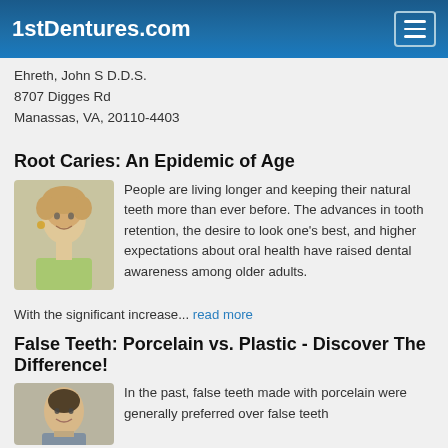1stDentures.com
Ehreth, John S D.D.S.
8707 Digges Rd
Manassas, VA, 20110-4403
Root Caries: An Epidemic of Age
[Figure (photo): Smiling older woman with short blonde hair]
People are living longer and keeping their natural teeth more than ever before. The advances in tooth retention, the desire to look one's best, and higher expectations about oral health have raised dental awareness among older adults.
With the significant increase... read more
False Teeth: Porcelain vs. Plastic - Discover The Difference!
[Figure (photo): Older man smiling, close-up portrait]
In the past, false teeth made with porcelain were generally preferred over false teeth